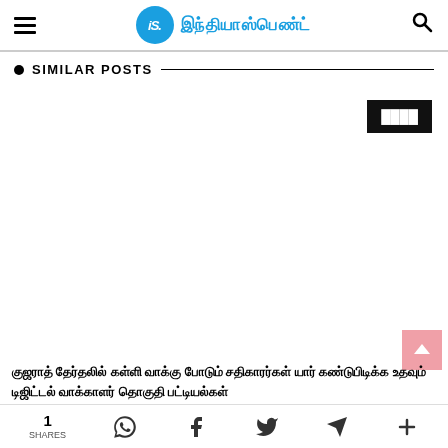iS. இந்தியாஸ்பெண்ட்
● SIMILAR POSTS
[Figure (other): Black badge with Tamil text label on upper right area]
[Figure (other): Pink scroll-to-top button with upward arrow]
Tamil language headline text (two lines)
1 SHARES | WhatsApp | Facebook | Twitter | Telegram | Plus